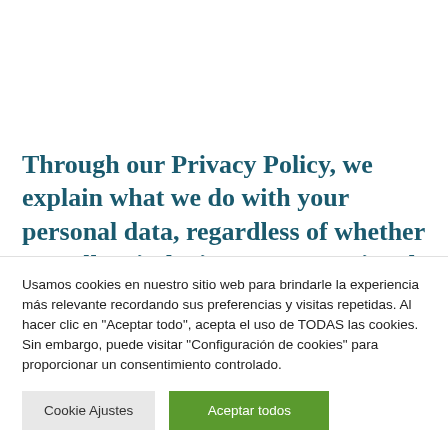Through our Privacy Policy, we explain what we do with your personal data, regardless of whether we collect it during a process aimed at searching for
Usamos cookies en nuestro sitio web para brindarle la experiencia más relevante recordando sus preferencias y visitas repetidas. Al hacer clic en "Aceptar todo", acepta el uso de TODAS las cookies. Sin embargo, puede visitar "Configuración de cookies" para proporcionar un consentimiento controlado.
Cookie Ajustes
Aceptar todos